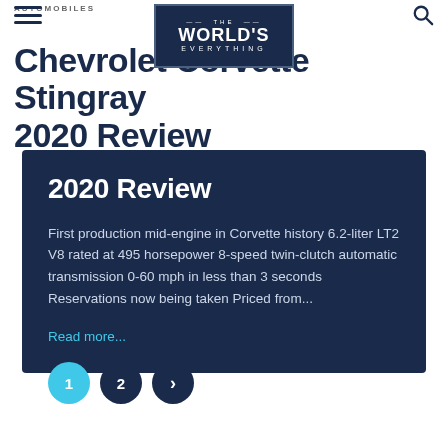AUTOMOBILES
[Figure (logo): The World's Everything logo — dark navy rectangle with decorative lines, bold text 'THE WORLD'S' and smaller text 'EVERYTHING']
Chevrolet Corvette Stingray 2020 Review
First production mid-engine in Corvette history 6.2-liter LT2 V8 rated at 495 horsepower 8-speed twin-clutch automatic transmission 0-60 mph in less than 3 seconds Reservations now being taken Priced from...
Read more...